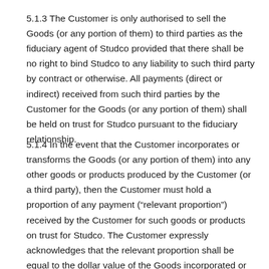5.1.3 The Customer is only authorised to sell the Goods (or any portion of them) to third parties as the fiduciary agent of Studco provided that there shall be no right to bind Studco to any liability to such third party by contract or otherwise. All payments (direct or indirect) received from such third parties by the Customer for the Goods (or any portion of them) shall be held on trust for Studco pursuant to the fiduciary relationship.
5.1.4 In the event that the Customer incorporates or transforms the Goods (or any portion of them) into any other goods or products produced by the Customer (or a third party), then the Customer must hold a proportion of any payment (“relevant proportion”) received by the Customer for such goods or products on trust for Studco. The Customer expressly acknowledges that the relevant proportion shall be equal to the dollar value of the Goods incorporated or